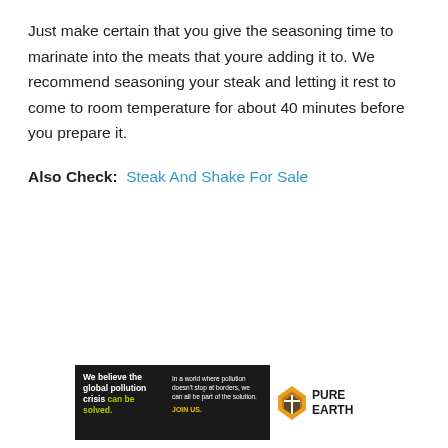Just make certain that you give the seasoning time to marinate into the meats that youre adding it to. We recommend seasoning your steak and letting it rest to come to room temperature for about 40 minutes before you prepare it.
Also Check: Steak And Shake For Sale
[Figure (infographic): Advertisement banner for Pure Earth. Left dark section reads 'We believe the global pollution crisis can be solved.' Right side has Pure Earth logo with orange diamond icon and text 'PURE EARTH'. Middle text: 'In a world where pollution doesn't stop at borders, we can all be part of the solution. JOIN US.']